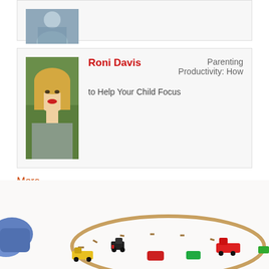[Figure (photo): Partial card at top showing a person photo cropped, with grey/blue tones]
Roni Davis
Parenting Productivity: How to Help Your Child Focus
More
[Figure (logo): RSS feed icon (orange square with white wifi-like symbol)]
[Figure (photo): Bottom photo showing colorful wooden toy trains on a track on a white carpet, with a child's feet visible on the left]